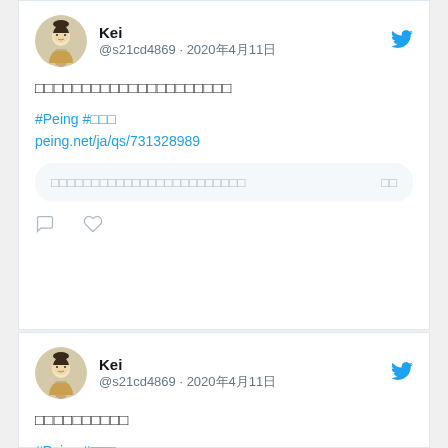Kei @s21cd4869 · 2020年4月11日 — Tweet 1 with Japanese text, hashtags #Peing #質問箱, link peing.net/ja/qs/731328989, question box, reply and like actions
Kei @s21cd4869 · 2020年4月11日 — Tweet 2 with Japanese text, hashtags #Peing #質問箱, link peing.net/ja/qs/548740200